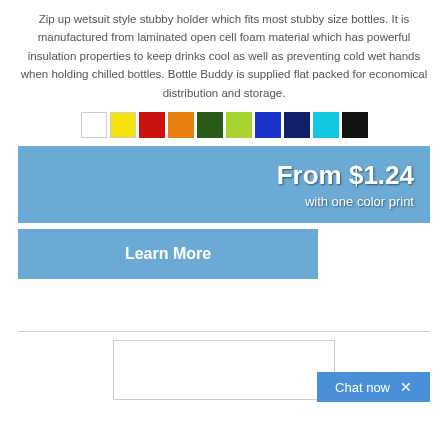Zip up wetsuit style stubby holder which fits most stubby size bottles. It is manufactured from laminated open cell foam material which has powerful insulation properties to keep drinks cool as well as preventing cold wet hands when holding chilled bottles. Bottle Buddy is supplied flat packed for economical distribution and storage.
[Figure (illustration): Row of 10 color swatches: white, yellow, red, orange, dark green, lime green, blue, dark blue/navy, cyan, black]
From $1.24
with one color print
Learn More
[Figure (screenshot): Partial image of a product or page content, bottom section cut off, with a Chat now button in the lower right corner]